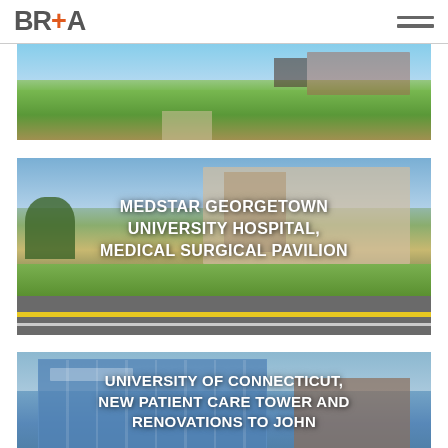BR+ [logo with hamburger menu]
[Figure (photo): Outdoor park/campus scene with cyclists, pedestrians, green lawn, benches, and brick buildings in background]
[Figure (photo): MedStar Georgetown University Hospital Medical Surgical Pavilion - architectural rendering of hospital building with road in foreground and landscaping]
[Figure (photo): University of Connecticut New Patient Care Tower and Renovations to John - glass and brick hospital tower building]